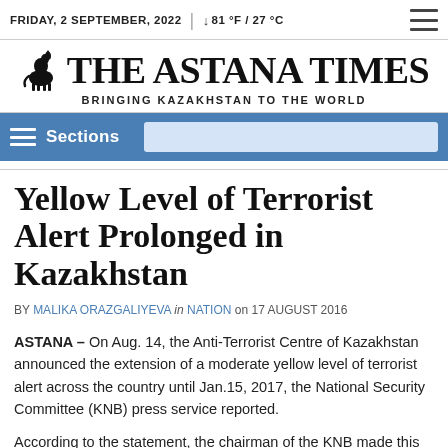FRIDAY, 2 SEPTEMBER, 2022 | ↓ 81 °F / 27 °C
THE ASTANA TIMES — BRINGING KAZAKHSTAN TO THE WORLD
Sections
Yellow Level of Terrorist Alert Prolonged in Kazakhstan
BY MALIKA ORAZGALIYEVA in NATION on 17 AUGUST 2016
ASTANA – On Aug. 14, the Anti-Terrorist Centre of Kazakhstan announced the extension of a moderate yellow level of terrorist alert across the country until Jan.15, 2017, the National Security Committee (KNB) press service reported.
According to the statement, the chairman of the KNB made this